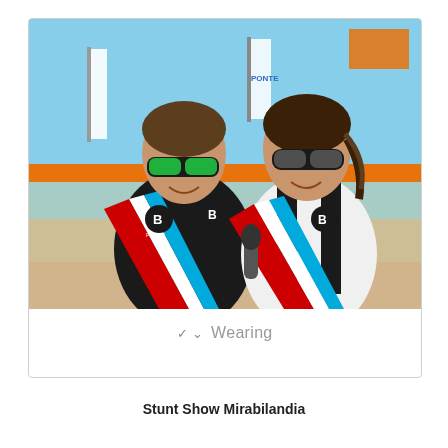[Figure (photo): Two female athletes laughing together outdoors at a beach sports event. Both wear black and white Power Balance sleeveless jerseys with red, white, and blue diagonal stripes, and sport sunglasses. The background shows an orange sports net, banners, and blue sky.]
✓  Wearing
Stunt Show Mirabilandia